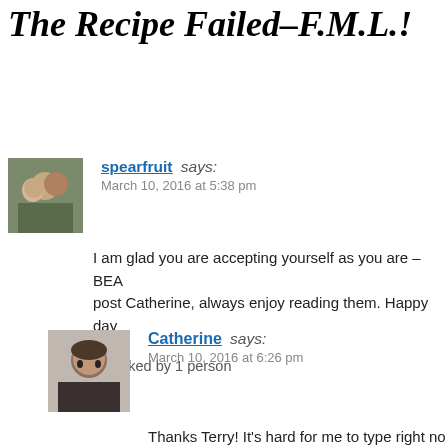55 Responses to I Cooked and Baked The Recipe Failed–F.M.L.!
spearfruit says:
March 10, 2016 at 5:38 pm
I am glad you are accepting yourself as you are – BEAT post Catherine, always enjoy reading them. Happy day
Liked by 1 person
Reply
Catherine says:
March 10, 2016 at 6:26 pm
Thanks Terry! It's hard for me to type right no hydrated–just like my face!!! Have a great eve